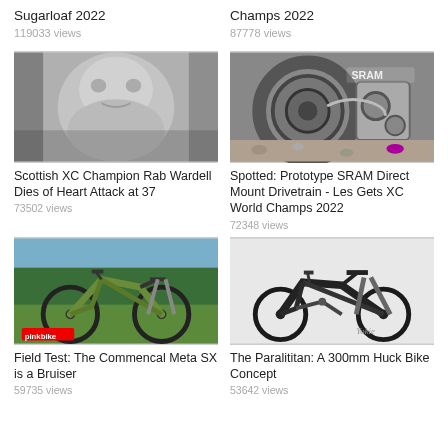Sugarloaf 2022
119033 views
Champs 2022
87778 views
[Figure (photo): Black and white close-up portrait of an older man with grey stubble and weathered face]
Scottish XC Champion Rab Wardell Dies of Heart Attack at 37
73502 views
[Figure (photo): Close-up of SRAM bicycle drivetrain components - cassette, chain, and derailleur]
Spotted: Prototype SRAM Direct Mount Drivetrain - Les Gets XC World Champs 2022
72348 views
[Figure (photo): Green full-suspension mountain bike photographed outdoors near a lake with trees in the background, Pinkbike logo visible]
Field Test: The Commencal Meta SX is a Bruiser
59735 views
[Figure (photo): Dark colored downhill mountain bike concept on light grey background with a signature/logo]
The Paralititan: A 300mm Huck Bike Concept
53642 views